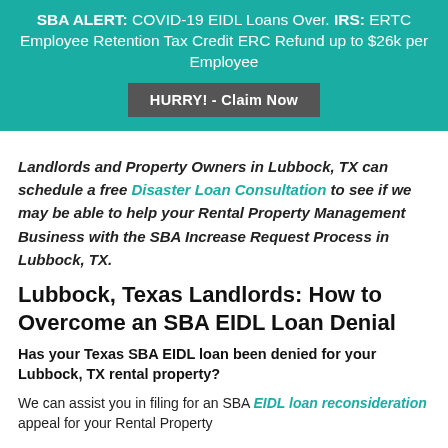SBA ALERT: COVID-19 EIDL Loans Over. IRS: ERTC Employee Retention Tax Credit ERC Refund up to $26k per Employee
HURRY! - Claim Now
Landlords and Property Owners in Lubbock, TX can schedule a free Disaster Loan Consultation to see if we may be able to help your Rental Property Management Business with the SBA Increase Request Process in Lubbock, TX.
Lubbock, Texas Landlords: How to Overcome an SBA EIDL Loan Denial
Has your Texas SBA EIDL loan been denied for your Lubbock, TX rental property?
We can assist you in filing for an SBA EIDL loan reconsideration appeal for your Rental Property